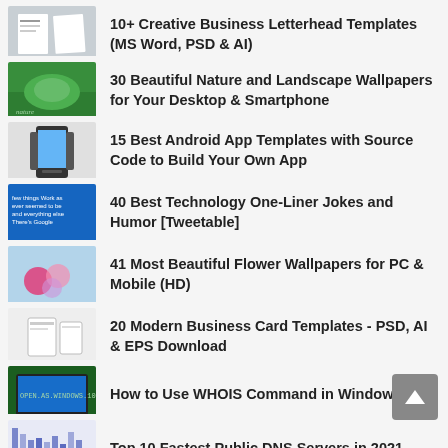10+ Creative Business Letterhead Templates (MS Word, PSD & AI)
30 Beautiful Nature and Landscape Wallpapers for Your Desktop & Smartphone
15 Best Android App Templates with Source Code to Build Your Own App
40 Best Technology One-Liner Jokes and Humor [Tweetable]
41 Most Beautiful Flower Wallpapers for PC & Mobile (HD)
20 Modern Business Card Templates - PSD, AI & EPS Download
How to Use WHOIS Command in Windows 10
Top 10 Fastest Public DNS Servers in 2021